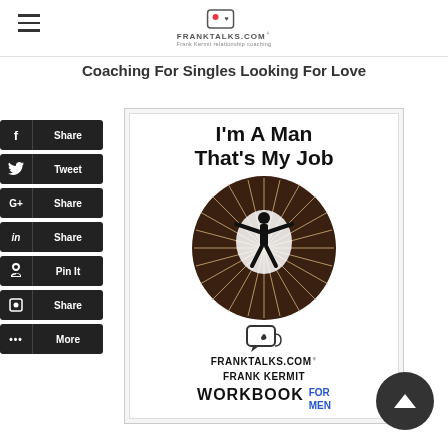FRANKTALKS.COM
Coaching For Singles Looking For Love
[Figure (screenshot): Book cover for 'I'm A Man That's My Job' workbook by Frank Kermit from FrankTalks.com, featuring a silhouette of a man with arms outstretched inside a glowing circle, with the text WORKBOOK FOR MEN]
Share (Facebook)
Tweet
Share (Google+)
Share (LinkedIn)
Pin It
Share (Blogger)
More